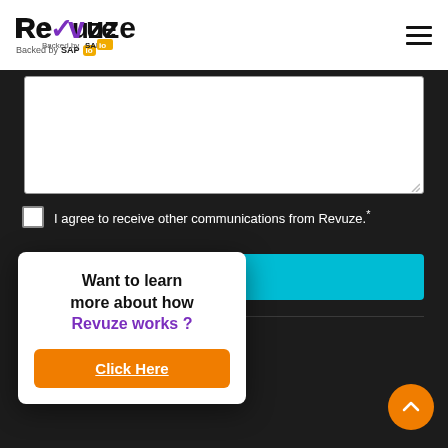Revuze — Backed by SAP io
[Figure (screenshot): White textarea input field with resize handle in bottom right corner on dark background]
I agree to receive other communications from Revuze.*
Go
[Figure (logo): Revuze logo with 'Backed by SAP io' tagline in footer area]
17-338-2917
[Figure (infographic): Popup card: Want to learn more about how Revuze works? Click Here button in orange]
[Figure (other): Orange circular scroll-to-top button with upward arrow]